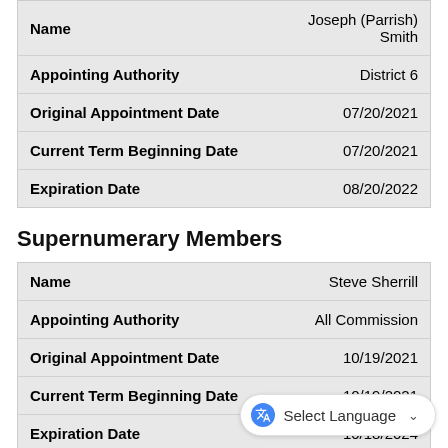| Field | Value |
| --- | --- |
| Name | Joseph (Parrish) Smith |
| Appointing Authority | District 6 |
| Original Appointment Date | 07/20/2021 |
| Current Term Beginning Date | 07/20/2021 |
| Expiration Date | 08/20/2022 |
Supernumerary Members
| Field | Value |
| --- | --- |
| Name | Steve Sherrill |
| Appointing Authority | All Commission |
| Original Appointment Date | 10/19/2021 |
| Current Term Beginning Date | 10/19/2021 |
| Expiration Date | 10/18/2024 |
| Name | Morris Stringer |
| Appointing Authority |  |